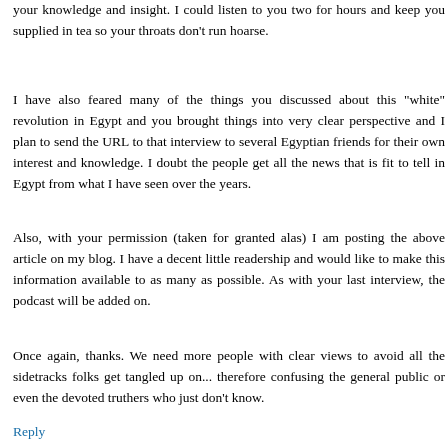your knowledge and insight. I could listen to you two for hours and keep you supplied in tea so your throats don't run hoarse.
I have also feared many of the things you discussed about this "white" revolution in Egypt and you brought things into very clear perspective and I plan to send the URL to that interview to several Egyptian friends for their own interest and knowledge. I doubt the people get all the news that is fit to tell in Egypt from what I have seen over the years.
Also, with your permission (taken for granted alas) I am posting the above article on my blog. I have a decent little readership and would like to make this information available to as many as possible. As with your last interview, the podcast will be added on.
Once again, thanks. We need more people with clear views to avoid all the sidetracks folks get tangled up on... therefore confusing the general public or even the devoted truthers who just don't know.
Reply